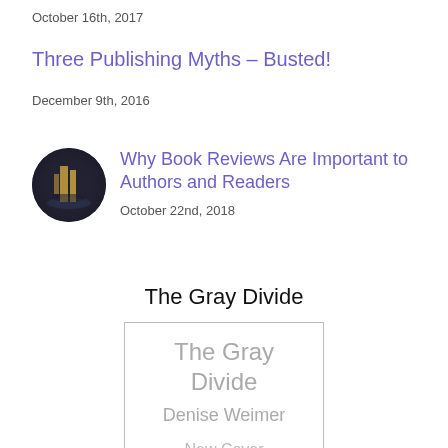October 16th, 2017
Three Publishing Myths – Busted!
December 9th, 2016
[Figure (photo): Circular thumbnail image showing a nighttime city scene with illuminated towers reflected in water]
Why Book Reviews Are Important to Authors and Readers
October 22nd, 2018
The Gray Divide
[Figure (illustration): Book cover placeholder with text 'The Gray Divide', 'Denise Weimer', 'New Cover', 'Coming Soon' in light gray on white background with gray border]